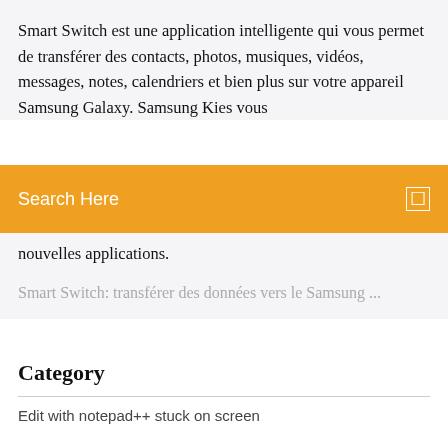Smart Switch est une application intelligente qui vous permet de transférer des contacts, photos, musiques, vidéos, messages, notes, calendriers et bien plus sur votre appareil Samsung Galaxy. Samsung Kies vous
[Figure (screenshot): Orange search bar overlay with text 'Search Here' and a small square icon on the right]
nouvelles applications.
Smart Switch: transférer des données vers le Samsung ...
Category
Edit with notepad++ stuck on screen